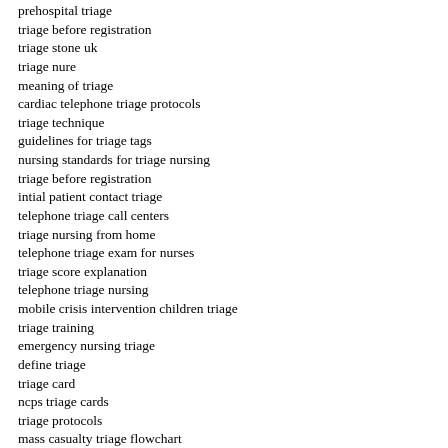prehospital triage
triage before registration
triage stone uk
triage nure
meaning of triage
cardiac telephone triage protocols
triage technique
guidelines for triage tags
nursing standards for triage nursing
triage before registration
intial patient contact triage
telephone triage call centers
triage nursing from home
telephone triage exam for nurses
triage score explanation
telephone triage nursing
mobile crisis intervention children triage
triage training
emergency nursing triage
define triage
triage card
ncps triage cards
triage protocols
mass casualty triage flowchart
how to design a triage table